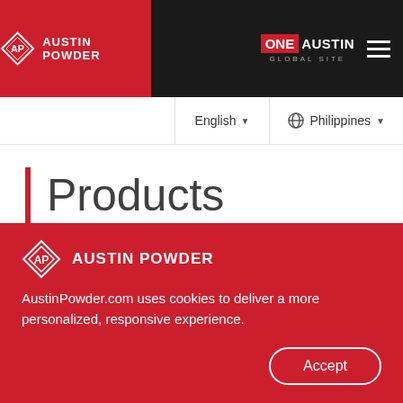AUSTIN POWDER | ONE AUSTIN GLOBAL SITE
English  Philippines
Products
[Figure (screenshot): Search input box with search icon button]
AUSTIN POWDER
AustinPowder.com uses cookies to deliver a more personalized, responsive experience.
Accept